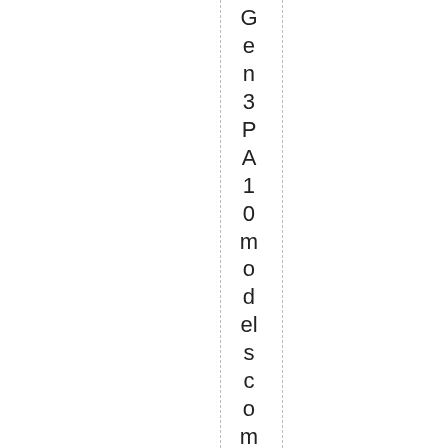Gen3PA10 models come with a dimple